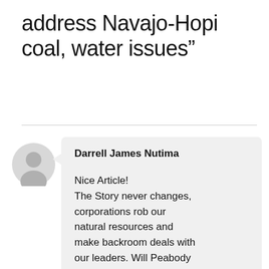address Navajo-Hopi coal, water issues”
Darrell James Nutima

Nice Article!
The Story never changes, corporations rob our natural resources and make backroom deals with our leaders. Will Peabody Coal ever be held responsible for their